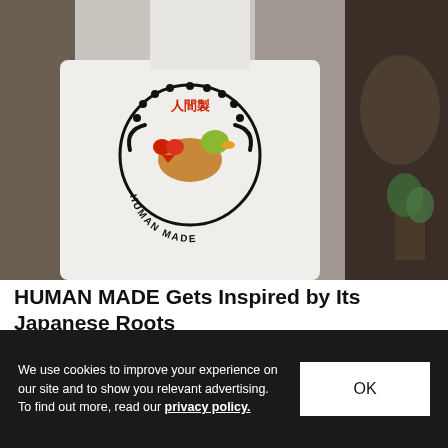[Figure (photo): Person wearing a white jacket with the back showing a Human Made logo — a circular design with Japanese characters 人間製, a duck illustration, and text reading HUMAN MADE around the bottom.]
HUMAN MADE Gets Inspired by Its Japanese Roots
Featuring an Uchiwa fan, Mamezara chopsticks rest, and more.
Fashion   Jul 15, 2022   🔥 2.9K   💬 0
We use cookies to improve your experience on our site and to show you relevant advertising. To find out more, read our privacy policy.